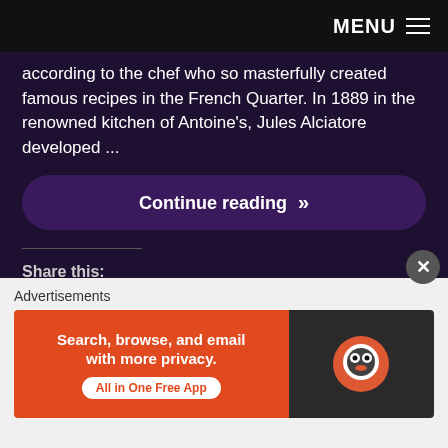MENU ☰
according to the chef who so masterfully created famous recipes in the French Quarter. In 1889 in the renowned kitchen of Antoine's, Jules Alciatore developed ...
Continue reading »
Share this:
Twitter
Facebook
Pinterest
Email
Print
LinkedIn
Reddit
Tumblr
Pocket
Telegram
WhatsApp
Skype
Advertisements
[Figure (infographic): DuckDuckGo advertisement banner: 'Search, browse, and email with more privacy. All in One Free App' on orange background with DuckDuckGo logo on dark background]